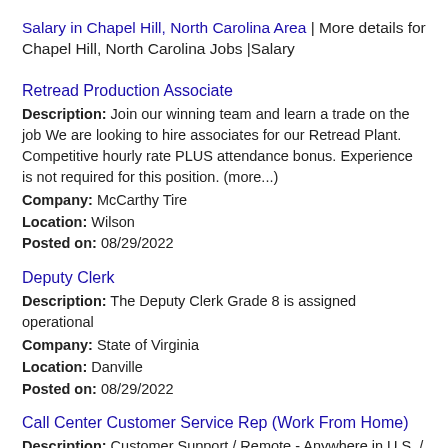Salary in Chapel Hill, North Carolina Area | More details for Chapel Hill, North Carolina Jobs |Salary
Retread Production Associate
Description: Join our winning team and learn a trade on the job We are looking to hire associates for our Retread Plant. Competitive hourly rate PLUS attendance bonus. Experience is not required for this position. (more...)
Company: McCarthy Tire
Location: Wilson
Posted on: 08/29/2022
Deputy Clerk
Description: The Deputy Clerk Grade 8 is assigned operational
Company: State of Virginia
Location: Danville
Posted on: 08/29/2022
Call Center Customer Service Rep (Work From Home)
Description: Customer Support / Remote - Anywhere in U.S. / Competitive Pay Any Call Cent...